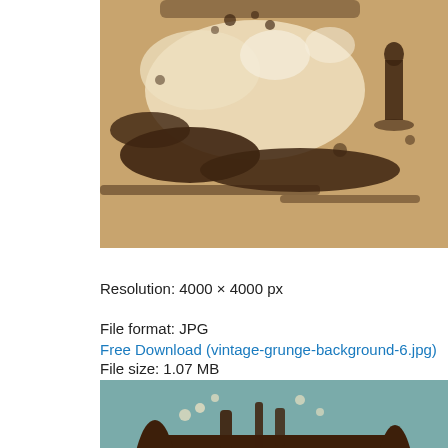[Figure (illustration): Vintage grunge background image with tan/brown tones, showing abstract ink splatters and silhouette of a person on a textured background.]
Resolution: 4000 × 4000 px
File format: JPG
File size: 1.07 MB
Free Download (vintage-grunge-background-6.jpg)
[Figure (illustration): Vintage grunge background image with teal/blue-green background and a large dark brown rough rectangular paint stroke in the center, with splatters and drips.]